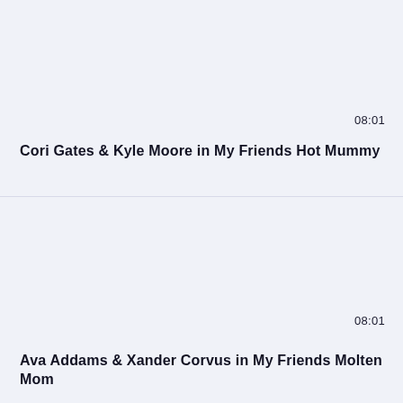08:01
Cori Gates & Kyle Moore in My Friends Hot Mummy
08:01
Ava Addams & Xander Corvus in My Friends Molten Mom